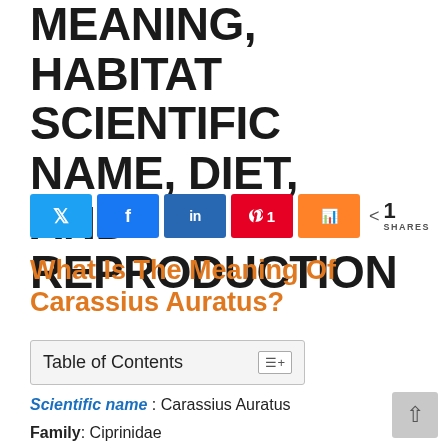MEANING, HABITAT SCIENTIFIC NAME, DIET, AND REPRODUCTION
[Figure (other): Social share buttons row: Twitter, Facebook, LinkedIn, Pinterest (1), Mix, and share count showing 1 SHARES]
What Is The Meaning Of Carassius Auratus?
Table of Contents
Scientific name : Carassius Auratus
Family: Ciprinidae